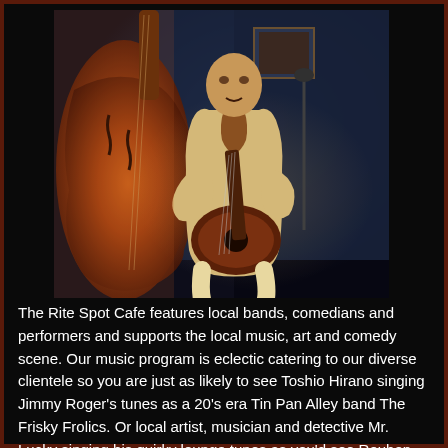[Figure (photo): A musician in a light beige/tan jacket sits playing an electric guitar in a dimly lit venue. In the foreground on the left is a large double bass (upright bass) with warm orange/amber tones. The background is dark blue. The overall lighting is warm and atmospheric.]
The Rite Spot Cafe features local bands, comedians and performers and supports the local music, art and comedy scene. Our music program is eclectic catering to our diverse clientele so you are just as likely to see Toshio Hirano singing Jimmy Roger's tunes as a 20's era Tin Pan Alley band The Frisky Frolics. Or local artist, musician and detective Mr. Lucky singing his quirky lounge tunes as you'd see Reuben Rye banging out instrumental versions of 80's post punk on our beautiful